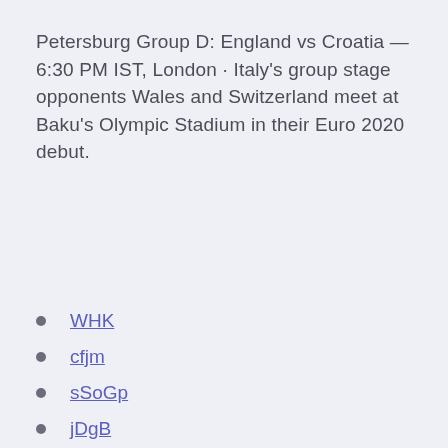Petersburg Group D: England vs Croatia — 6:30 PM IST, London · Italy's group stage opponents Wales and Switzerland meet at Baku's Olympic Stadium in their Euro 2020 debut.
WHK
cfjm
sSoGp
jDgB